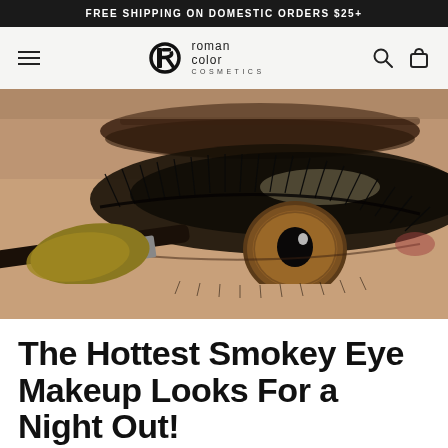FREE SHIPPING ON DOMESTIC ORDERS $25+
[Figure (logo): Roman Color Cosmetics logo with stylized R/Q icon and text]
[Figure (photo): Close-up of a woman's eye with smokey eye makeup being applied with a golden eyeshadow brush, dramatic lashes and arched brow visible]
The Hottest Smokey Eye Makeup Looks For a Night Out!